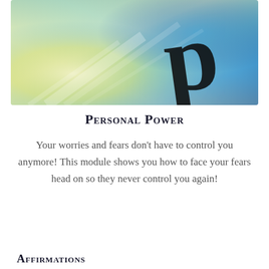[Figure (illustration): Abstract gradient background blending teal, blue, yellow-green, and white with a large cursive letter P in black overlaid on the right side]
Personal Power
Your worries and fears don't have to control you anymore! This module shows you how to face your fears head on so they never control you again!
Affirmations